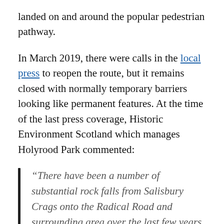landed on and around the popular pedestrian pathway.
In March 2019, there were calls in the local press to reopen the route, but it remains closed with normally temporary barriers looking like permanent features. At the time of the last press coverage, Historic Environment Scotland which manages Holyrood Park commented:
“There have been a number of substantial rock falls from Salisbury Crags onto the Radical Road and surrounding area over the last few years with increasing regularity. Following the rock fall in